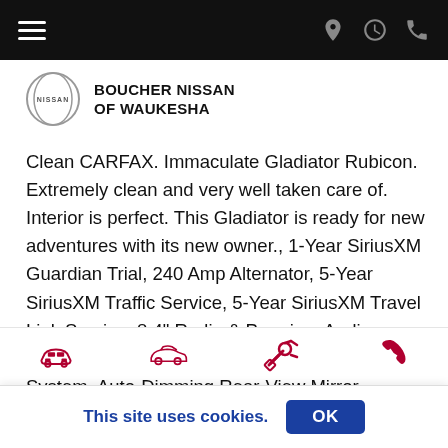Boucher Nissan of Waukesha navigation bar
[Figure (logo): Nissan logo circle with NISSAN text, followed by BOUCHER NISSAN OF WAUKESHA dealer name]
Clean CARFAX. Immaculate Gladiator Rubicon. Extremely clean and very well taken care of. Interior is perfect. This Gladiator is ready for new adventures with its new owner., 1-Year SiriusXM Guardian Trial, 240 Amp Alternator, 5-Year SiriusXM Traffic Service, 5-Year SiriusXM Travel Link Service, 8.4" Radio & Premium Audio Group, ABS brakes, Alpine Premium Audio System, Auto-Dimming Rear-View Mirror, Automatic temperature control, Black 3-Piece Hard Top, Class IV Hitch Receiver, Daytime Running Lamps LED Accents, Delay-off headlights, Dual Top Group, Emergency/Assistance
[Figure (infographic): Bottom icon bar with four red icons: front view car, side view car, wrench/tools, phone]
This site uses cookies.
OK